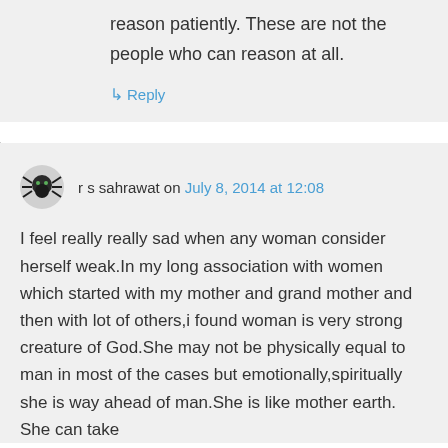reason patiently. These are not the people who can reason at all.
↳ Reply
r s sahrawat on July 8, 2014 at 12:08
I feel really really sad when any woman consider herself weak.In my long association with women which started with my mother and grand mother and then with lot of others,i found woman is very strong creature of God.She may not be physically equal to man in most of the cases but emotionally,spiritually she is way ahead of man.She is like mother earth. She can take